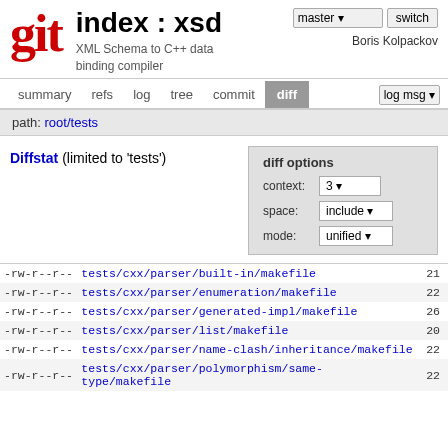git  index : xsd  XML Schema to C++ data binding compiler  Boris Kolpackov
summary  refs  log  tree  commit  diff  log msg
path: root/tests
Diffstat (limited to 'tests')
diff options
context: 3
space: include
mode: unified
| permissions | file | lines |
| --- | --- | --- |
| -rw-r--r-- | tests/cxx/parser/built-in/makefile | 21 |
| -rw-r--r-- | tests/cxx/parser/enumeration/makefile | 22 |
| -rw-r--r-- | tests/cxx/parser/generated-impl/makefile | 26 |
| -rw-r--r-- | tests/cxx/parser/list/makefile | 20 |
| -rw-r--r-- | tests/cxx/parser/name-clash/inheritance/makefile | 22 |
| -rw-r--r-- | tests/cxx/parser/polymorphism/same-type/makefile | 22 |